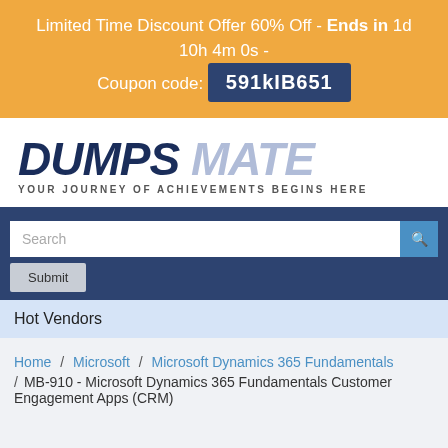Limited Time Discount Offer 60% Off - Ends in 1d 10h 4m 0s - Coupon code: 591kIB651
[Figure (logo): DumpsMate logo with tagline YOUR JOURNEY OF ACHIEVEMENTS BEGINS HERE]
Search
Submit
Hot Vendors
Home / Microsoft / Microsoft Dynamics 365 Fundamentals / MB-910 - Microsoft Dynamics 365 Fundamentals Customer Engagement Apps (CRM)